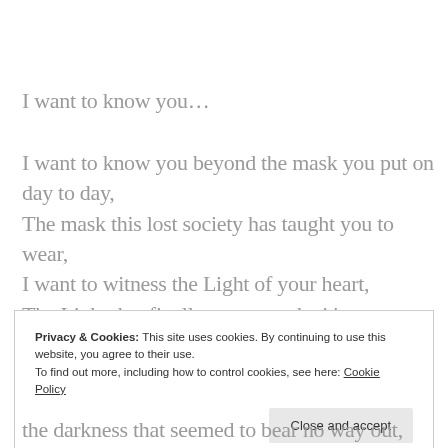I want to know you…
I want to know you beyond the mask you put on day to day,
The mask this lost society has taught you to wear,
I want to witness the Light of your heart,
The Light that finally gets to make it's entrance into the world that so dearly has been asking you to show.
Privacy & Cookies: This site uses cookies. By continuing to use this website, you agree to their use.
To find out more, including how to control cookies, see here: Cookie Policy
the darkness that seemed to bear no way out,